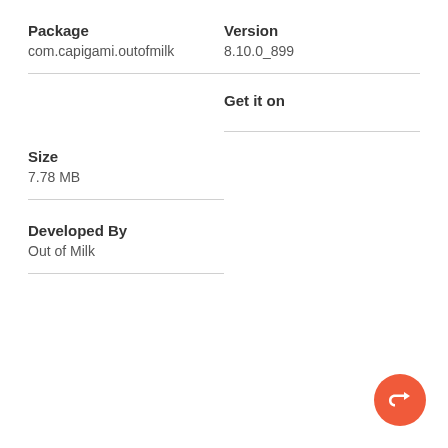Package
com.capigami.outofmilk
Version
8.10.0_899
Get it on
Size
7.78 MB
Developed By
Out of Milk
[Figure (illustration): Orange circular share/reply button with white arrow icon, positioned bottom-right corner]